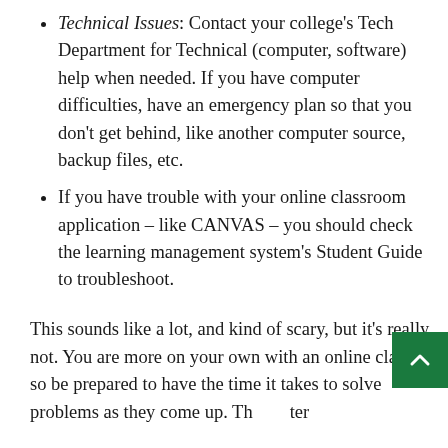Technical Issues: Contact your college's Tech Department for Technical (computer, software) help when needed. If you have computer difficulties, have an emergency plan so that you don't get behind, like another computer source, backup files, etc.
If you have trouble with your online classroom application – like CANVAS – you should check the learning management system's Student Guide to troubleshoot.
This sounds like a lot, and kind of scary, but it's really not. You are more on your own with an online class, so be prepared to have the time it takes to solve problems as they come up. Th ter